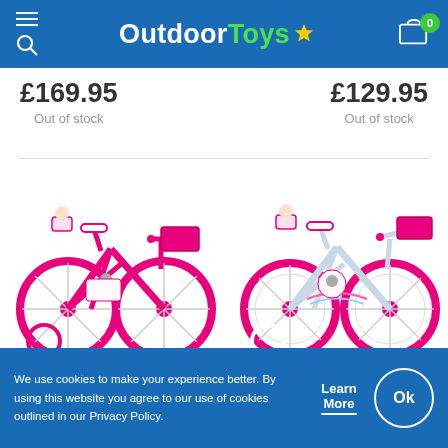OutdoorToys
£169.95
Out of stock
£129.95
Out of stock
[Figure (photo): Pink Disney Princess children's pedal bike with training wheels, doll seat, and front basket]
[Figure (photo): White and pink Unicorn children's pedal bike with training wheels, doll seat, and front basket]
Licensed Children's Pedal
Licensed Children's Pedal
We use cookies to make your experience better. By using this website you agree to our use of cookies outlined in our Privacy Policy.